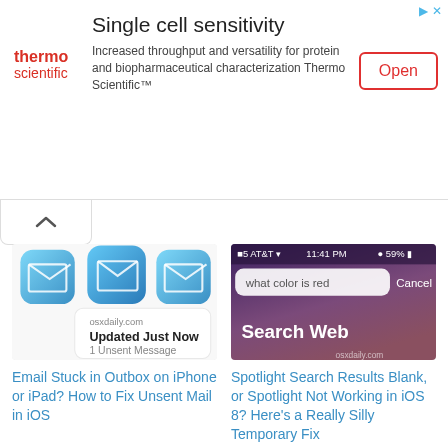[Figure (screenshot): Advertisement banner for Thermo Scientific with logo, headline 'Single cell sensitivity', description text, and Open button]
[Figure (screenshot): Left article thumbnail: Three iOS Mail app icons showing Updated Just Now / 1 Unsent Message notification]
Email Stuck in Outbox on iPhone or iPad? How to Fix Unsent Mail in iOS
[Figure (screenshot): Right article thumbnail: iOS Spotlight search showing 'what color is red' query with Search Web option]
Spotlight Search Results Blank, or Spotlight Not Working in iOS 8? Here's a Really Silly Temporary Fix
[Figure (screenshot): Bottom article thumbnail: Grid of iOS Mail app icons (8 icons in 2 rows of 4)]